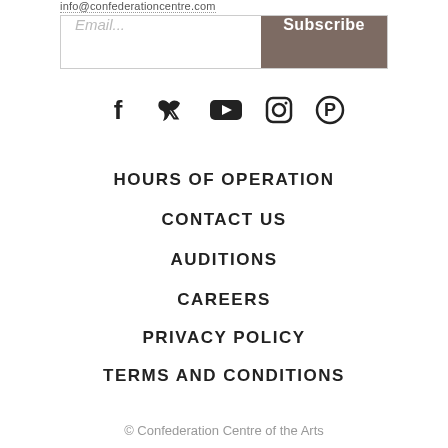info@confederationcentre.com
[Figure (other): Email subscription bar with input field placeholder 'Email...' and a Subscribe button]
[Figure (other): Social media icons row: Facebook, Twitter, YouTube, Instagram, Pinterest]
HOURS OF OPERATION
CONTACT US
AUDITIONS
CAREERS
PRIVACY POLICY
TERMS AND CONDITIONS
© Confederation Centre of the Arts